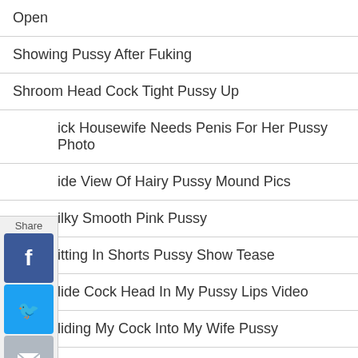Open
Showing Pussy After Fuking
Shroom Head Cock Tight Pussy Up
Sick Housewife Needs Penis For Her Pussy Photo
Side View Of Hairy Pussy Mound Pics
Silky Smooth Pink Pussy
Sitting In Shorts Pussy Show Tease
Slide Cock Head In My Pussy Lips Video
Sliding My Cock Into My Wife Pussy
Slippery Pussy Ready For Fuck Pic
Slippery Well Used Pussy